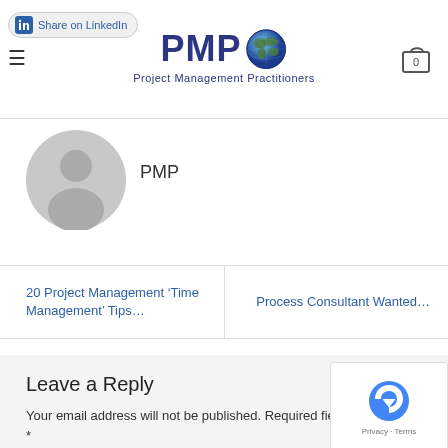Share on LinkedIn | PMP Project Management Practitioners | Cart 0
[Figure (illustration): Gray avatar/profile placeholder icon — silhouette of a person]
PMP
20 Project Management ‘Time Management’ Tips…
Process Consultant Wanted…
Leave a Reply
Your email address will not be published. Required fields are marked *
Comment